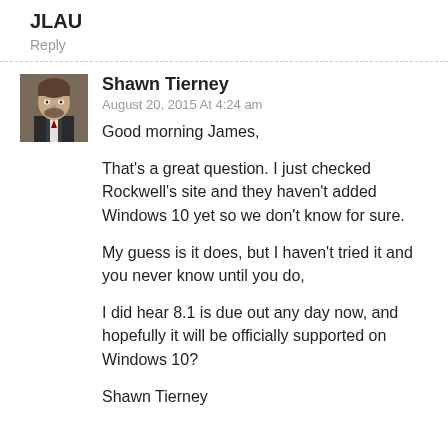JLAU
Reply
Shawn Tierney
August 20, 2015 At 4:24 am
Good morning James,

That's a great question. I just checked Rockwell's site and they haven't added Windows 10 yet so we don't know for sure.

My guess is it does, but I haven't tried it and you never know until you do,

I did hear 8.1 is due out any day now, and hopefully it will be officially supported on Windows 10?

Shawn Tierney